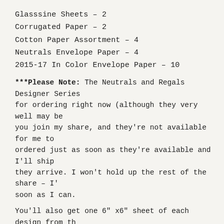Glasssine Sheets – 2
Corrugated Paper – 2
Cotton Paper Assortment – 4
Neutrals Envelope Paper – 4
2015-17 In Color Envelope Paper – 10
***Please Note: The Neutrals and Regals Designer Series for ordering right now (although they very well may be you join my share, and they're not available for me to ordered just as soon as they're available and I'll ship they arrive. I won't hold up the rest of the share – I' soon as I can.
You'll also get one 6" x6" sheet of each design from th number behind the name indicates how many 6x6 sheets receive):
Go Wild – 12